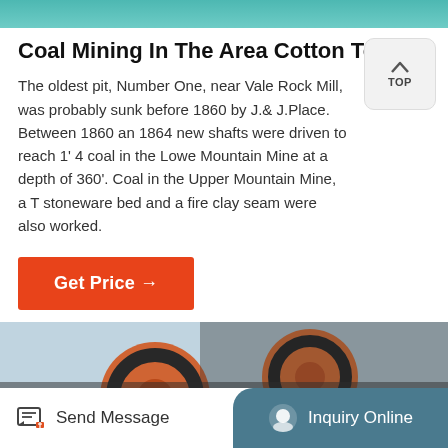[Figure (photo): Teal/green colored image strip at top of page]
Coal Mining In The Area Cotton Town
The oldest pit, Number One, near Vale Rock Mill, was probably sunk before 1860 by J.& J.Place. Between 1860 an 1864 new shafts were driven to reach 1' 4 coal in the Lowe Mountain Mine at a depth of 360'. Coal in the Upper Mountain Mine, a T stoneware bed and a fire clay seam were also worked.
Get Price →
[Figure (photo): Industrial mining machinery — large orange gear wheels and mechanical components in a factory setting]
Send Message   Inquiry Online